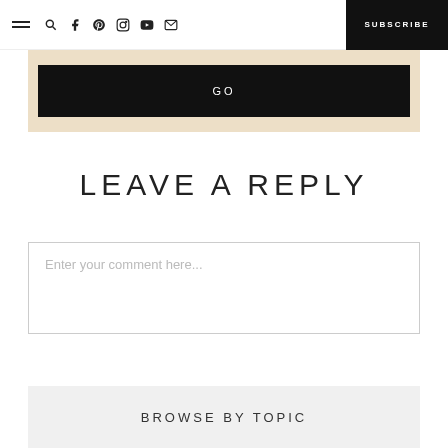☰ 🔍 f p instagram youtube mail | SUBSCRIBE
[Figure (screenshot): Beige subscription area with a black GO button]
LEAVE A REPLY
Enter your comment here...
BROWSE BY TOPIC